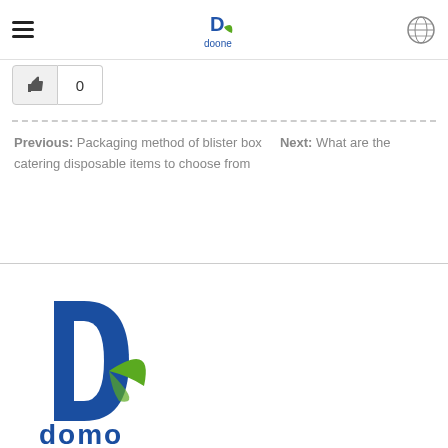Doone logo and navigation header
[Figure (logo): Thumbs up like button with count 0]
Previous: Packaging method of blister box   Next: What are the catering disposable items to choose from
[Figure (logo): Doone company logo — large D with green leaf and blue text 'domo']